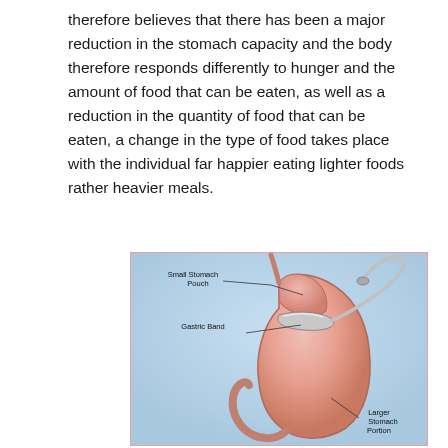therefore believes that there has been a major reduction in the stomach capacity and the body therefore responds differently to hunger and the amount of food that can be eaten, as well as a reduction in the quantity of food that can be eaten, a change in the type of food takes place with the individual far happier eating lighter foods rather heavier meals.
[Figure (illustration): Medical illustration of a gastric band procedure showing the stomach with labels: Small Stomach Pouch, Gastric Band, and Larger Stomach Portion. The band wraps around the upper portion of the stomach creating a small pouch above it, with a tube leading to an access port.]